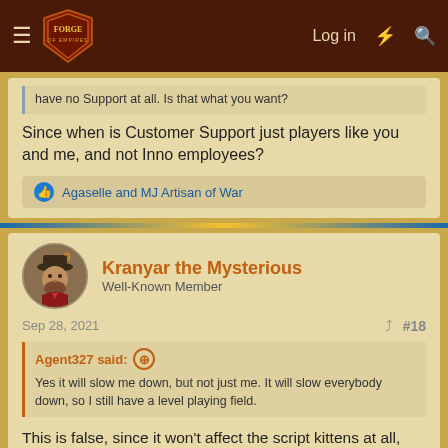Forge of Empires — Log in
have no Support at all. Is that what you want?
Since when is Customer Support just players like you and me, and not Inno employees?
Agaselle and MJ Artisan of War
Kranyar the Mysterious
Well-Known Member
Sep 28, 2021
#18
Agent327 said:
Yes it will slow me down, but not just me. It will slow everybody down, so I still have a level playing field.
This is false, since it won't affect the script kittens at all, and just give them a bigger advantage over the rest of us. It's getting impossible to find a decent diamond league guild that doesn't have at least 2 or more of them in it.